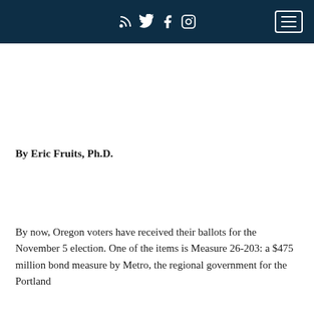Social media icons and navigation menu
By Eric Fruits, Ph.D.
By now, Oregon voters have received their ballots for the November 5 election. One of the items is Measure 26-203: a $475 million bond measure by Metro, the regional government for the Portland